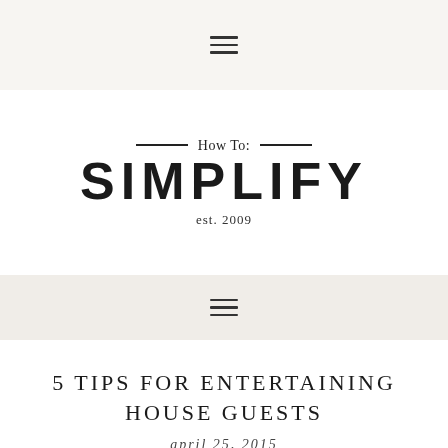≡
[Figure (logo): How To: SIMPLIFY est. 2009 logo with decorative horizontal rules flanking the 'How To:' text]
≡
5 TIPS FOR ENTERTAINING HOUSE GUESTS
april 25, 2015